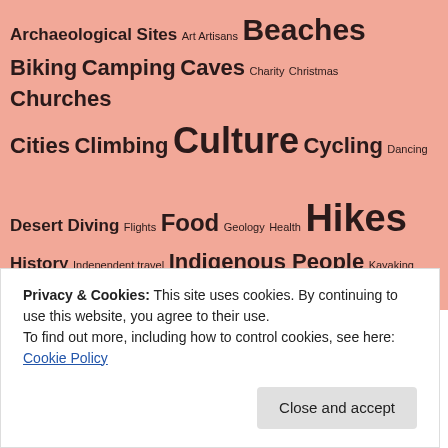[Figure (infographic): Tag cloud on salmon/pink background with travel-related tags in varying font sizes including: Archaeological Sites, Art Artisans, Beaches, Biking, Camping, Caves, Charity, Christmas, Churches, Cities, Climbing, Culture, Cycling, Dancing, Desert, Diving, Flights, Food, Geology, Health, Hikes, History, Independent travel, Indigenous People, Kayaking, Monkeys, Mountaineering, Mountains, Museums, Opinion Pieces, Personal, Public Transport, Religion, Reverse Culture Shock, Safari, Sailing, Snorkeling, Solo, Travel, Tours, Townships, Transport, Travel, Travel Days, Trekking, Tubing, Villages, Volcano, Volunteering, Waterfalls, Women]
Privacy & Cookies: This site uses cookies. By continuing to use this website, you agree to their use. To find out more, including how to control cookies, see here: Cookie Policy
Close and accept